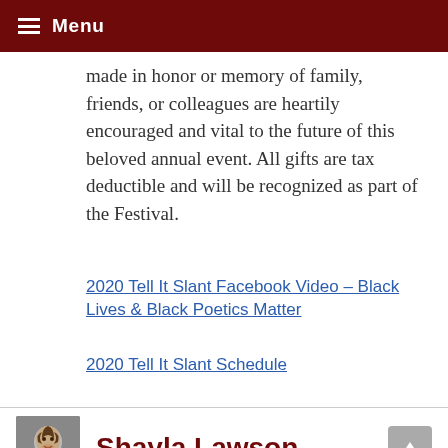Menu
made in honor or memory of family, friends, or colleagues are heartily encouraged and vital to the future of this beloved annual event. All gifts are tax deductible and will be recognized as part of the Festival.
2020 Tell It Slant Facebook Video – Black Lives & Black Poetics Matter
2020 Tell It Slant Schedule
Shayla Lawson